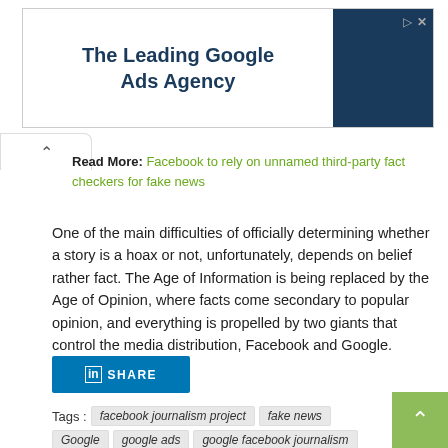[Figure (other): Advertisement banner: 'The Leading Google Ads Agency' with dark blue box on right, and ad icons (play and close) in top-right corner.]
Read More: Facebook to rely on unnamed third-party fact checkers for fake news
One of the main difficulties of officially determining whether a story is a hoax or not, unfortunately, depends on belief rather fact. The Age of Information is being replaced by the Age of Opinion, where facts come secondary to popular opinion, and everything is propelled by two giants that control the media distribution, Facebook and Google.
[Figure (other): LinkedIn SHARE button in blue.]
Tags :  facebook journalism project  fake news  Google  google ads  google facebook journalism